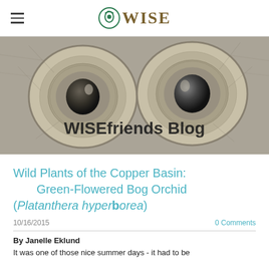WISE
[Figure (illustration): Close-up artistic drawing of owl eyes in sepia/grey tones forming a banner background with the text 'WISEfriends Blog' overlaid in bold dark text]
Wild Plants of the Copper Basin: Green-Flowered Bog Orchid (Platanthera hyperborea)
10/16/2015
0 Comments
By Janelle Eklund
It was one of those nice summer days - it had to be